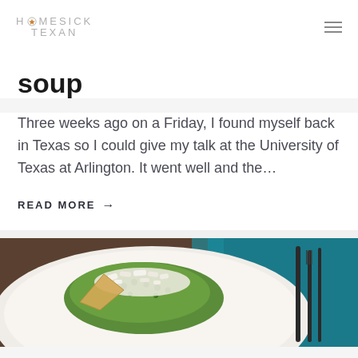HOMESICK TEXAN
soup
Three weeks ago on a Friday, I found myself back in Texas so I could give my talk at the University of Texas at Arlington. It went well and the…
READ MORE →
[Figure (photo): Photo of a dish with green food topped with crumbled white cheese, on a white plate with a teal/turquoise cloth in the background and dark utensils visible on the right.]